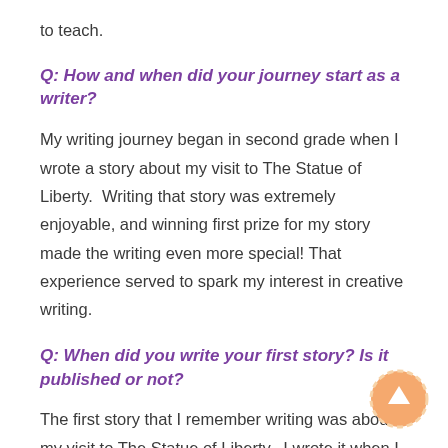to teach.
Q: How and when did your journey start as a writer?
My writing journey began in second grade when I wrote a story about my visit to The Statue of Liberty.  Writing that story was extremely enjoyable, and winning first prize for my story made the writing even more special!  That experience served to spark my interest in creative writing.
Q: When did you write your first story? Is it published or not?
The first story that I remember writing was about my visit to The Statue of Liberty.  I wrote it when I was in